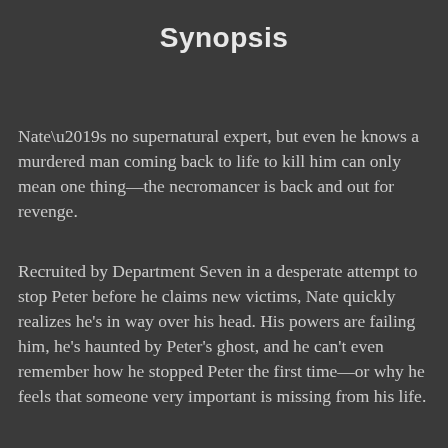Synopsis
Nate’s no supernatural expert, but even he knows a murdered man coming back to life to kill him can only mean one thing—the necromancer is back and out for revenge.
Recruited by Department Seven in a desperate attempt to stop Peter before he claims new victims, Nate quickly realizes he’s in way over his head. His powers are failing him, he’s haunted by Peter’s ghost, and he can’t even remember how he stopped Peter the first time—or why he feels that someone very important is missing from his life.
Ben is fighting for his afterlife. Trapped in the supernatural version of solitary confinement, he knows